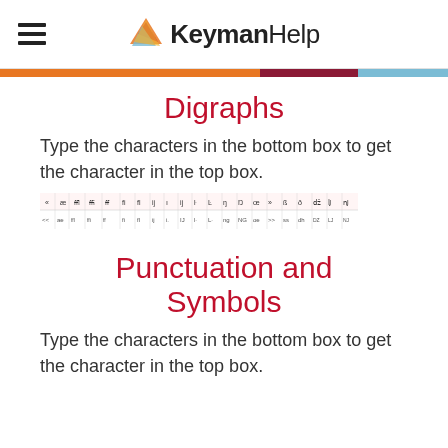KeymanHelp
Digraphs
Type the characters in the bottom box to get the character in the top box.
[Figure (table-as-image): A table showing digraph character mappings with two rows of small characters and abbreviations.]
Punctuation and Symbols
Type the characters in the bottom box to get the character in the top box.